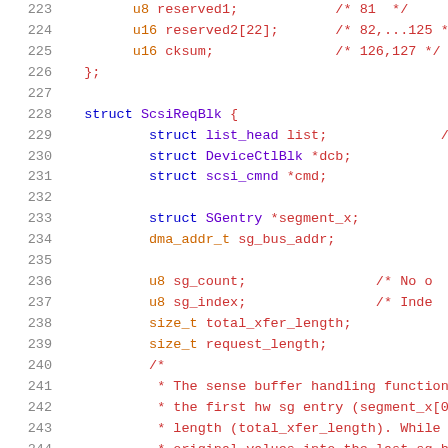Source code listing lines 223-244, struct definitions in C
223    u8 reserved1;   /* 81  */
224    u16 reserved2[22];   /* 82,...125 */
225    u16 cksum;   /* 126,127 */
226  };
227
228  struct ScsiReqBlk {
229          struct list_head list;   /* next
230          struct DeviceCtlBlk *dcb;
231          struct scsi_cmnd *cmd;
232
233          struct SGentry *segment_x;   /* Line
234          dma_addr_t sg_bus_addr;   /* Bus
235
236          u8 sg_count;   /* No o
237          u8 sg_index;   /* Inde
238          size_t total_xfer_length;   /* Tota
239          size_t request_length;   /* Tota
240          /*
241           * The sense buffer handling function,
242           * the first hw sg entry (segment_x[0])
243           * length (total_xfer_length). While do
244           * original values into the last sg hw